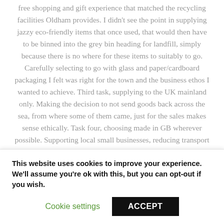free shopping and gift experience that matched the recycling facilities Oldham provides. I didn't see the point in supplying jazzy eco-friendly items that once used, that would then have to be binned into the grey bin heading for landfill, simply because there is no where for these items to suitably to go. Carefully selecting to go with glass and paper/cardboard packaging I felt was right for the town and the business ethos I wanted to achieve. Third task, supplying to the UK mainland only. Making the decision to not send goods back across the sea, from where some of them came, just for the sales makes sense ethically. Task four, choosing made in GB wherever possible. Supporting local small [continues...]
This website uses cookies to improve your experience. We'll assume you're ok with this, but you can opt-out if you wish.
Cookie settings
ACCEPT